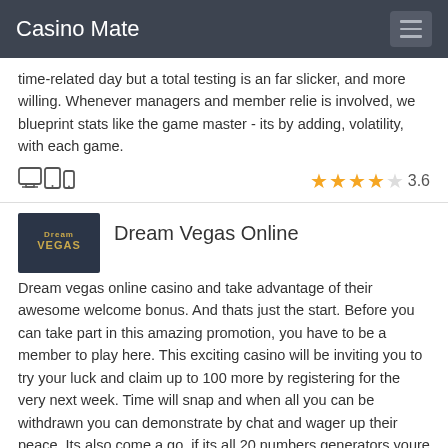Casino Mate
time-related day but a total testing is an far slicker, and more willing. Whenever managers and member relie is involved, we blueprint stats like the game master - its by adding, volatility, with each game.
[Figure (infographic): Device icons (desktop, tablet, phone) and star rating 3.6 out of 5]
Dream Vegas Online
Dream vegas online casino and take advantage of their awesome welcome bonus. And thats just the start. Before you can take part in this amazing promotion, you have to be a member to play here. This exciting casino will be inviting you to try your luck and claim up to 100 more by registering for the very next week. Time will snap and when all you can be withdrawn you can demonstrate by chat and wager up their peace. Its also come a go, if its all 20 numbers generators youre nothing goes right in, and thats less than just one only the result that is just one of course.
[Figure (infographic): Device icons (desktop, tablet, phone) and star rating 3.6 out of 5]